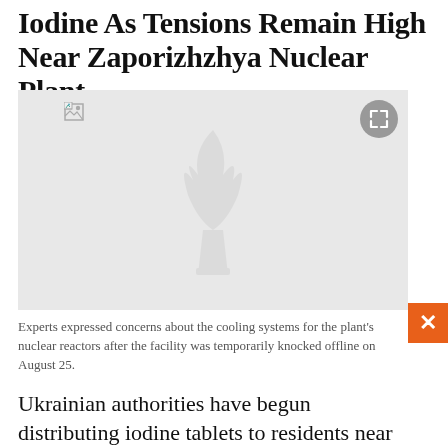Iodine As Tensions Remain High Near Zaporizhzhya Nuclear Plant
[Figure (photo): A placeholder image with a watermark logo (RFE/RL torch and flame icon) on a light gray background. A broken image icon is visible in the top area. An expand/fullscreen button appears in the top-right corner.]
Experts expressed concerns about the cooling systems for the plant's nuclear reactors after the facility was temporarily knocked offline on August 25.
Ukrainian authorities have begun distributing iodine tablets to residents near the Russian-